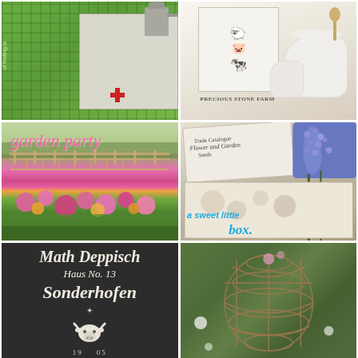[Figure (photo): Green wicker furniture and metal watering can near white cabinet with red cross decoration]
[Figure (photo): Stacked farm animals illustration on white background with text PRECIOUS STONE FARM, white pitchers]
[Figure (photo): Flower garden with pink and orange zinnias and green fence, with cursive text 'garden party']
[Figure (photo): Vintage seed catalog and floral decorated box with blue hyacinth flowers, text 'a sweet little box.']
[Figure (photo): Dark chalkboard sign with white lettering: Math Deppisch, Haus No. 13, Sonderhofen with bull logo and year 1905]
[Figure (photo): Garden ornamental sphere or trellis structure with green foliage in background]